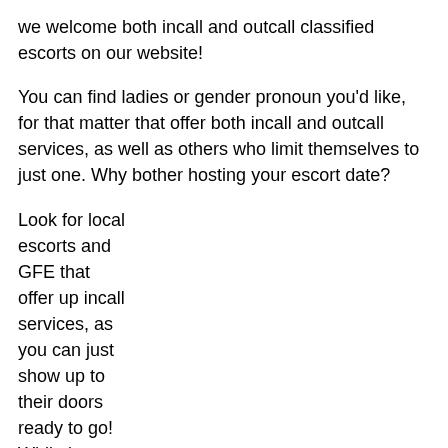we welcome both incall and outcall classified escorts on our website!
You can find ladies or gender pronoun you'd like, for that matter that offer both incall and outcall services, as well as others who limit themselves to just one. Why bother hosting your escort date?
Look for local escorts and GFE that offer up incall services, as you can just show up to their doors ready to go! While it may not be ideal for...